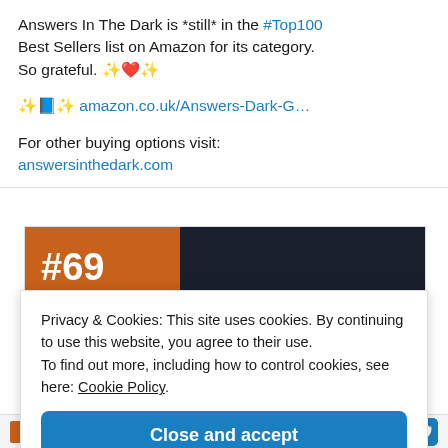Answers In The Dark is *still* in the #Top100 Best Sellers list on Amazon for its category. So grateful. ✨❤️✨
✨📘✨ amazon.co.uk/Answers-Dark-G...
For other buying options visit: answersinthedark.com
[Figure (screenshot): Book ranking banner showing #69 on orange background with dark book cover image]
Privacy & Cookies: This site uses cookies. By continuing to use this website, you agree to their use. To find out more, including how to control cookies, see here: Cookie Policy
Close and accept
Answers in the Dark (Book)